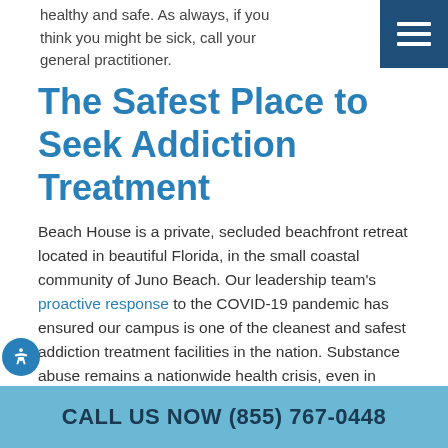healthy and safe. As always, if you think you might be sick, call your general practitioner.
The Safest Place to Seek Addiction Treatment
Beach House is a private, secluded beachfront retreat located in beautiful Florida, in the small coastal community of Juno Beach. Our leadership team's proactive response to the COVID-19 pandemic has ensured our campus is one of the cleanest and safest addiction treatment facilities in the nation. Substance abuse remains a nationwide health crisis, even in these unprecedented times, and we are dedicated to providing world-class care to those who need it. Contact us anytime for a confidential conversation with one of our admissions counselors.
CALL US NOW (855) 767-0448